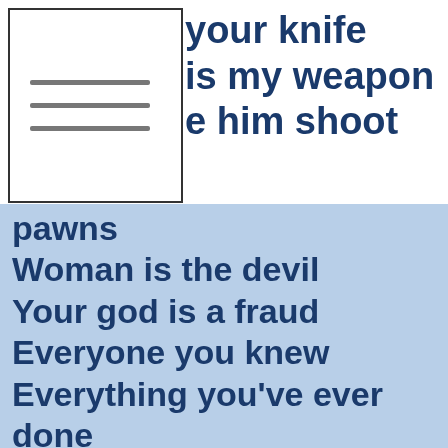[Figure (illustration): Hamburger menu icon with three horizontal gray lines on white background]
your knife
is my weapon
e him shoot
pawns
Woman is the devil
Your god is a fraud
Everyone you knew
Everything you've ever done
Suffer for your freedom